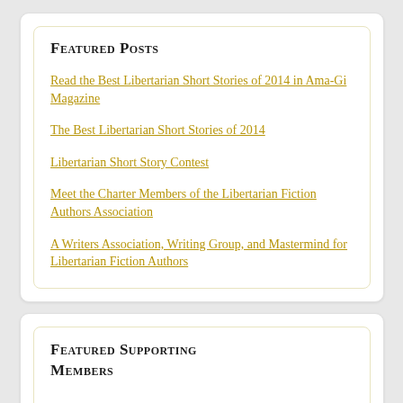Featured Posts
Read the Best Libertarian Short Stories of 2014 in Ama-Gi Magazine
The Best Libertarian Short Stories of 2014
Libertarian Short Story Contest
Meet the Charter Members of the Libertarian Fiction Authors Association
A Writers Association, Writing Group, and Mastermind for Libertarian Fiction Authors
Featured Supporting Members